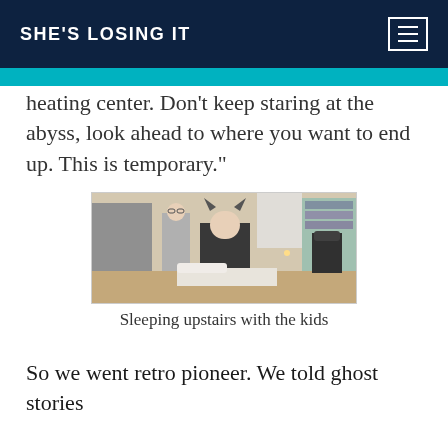SHE'S LOSING IT
heating center. Don't keep staring at the abyss, look ahead to where you want to end up. This is temporary."
[Figure (photo): Two people in a bedroom, one standing wearing glasses and a gray top, another sitting on a bed wearing a black hoodie with animal ears, indoor setting with bookshelves and desk in background]
Sleeping upstairs with the kids
So we went retro pioneer. We told ghost stories